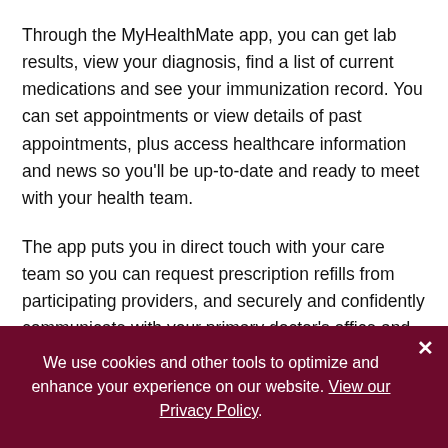Through the MyHealthMate app, you can get lab results, view your diagnosis, find a list of current medications and see your immunization record. You can set appointments or view details of past appointments, plus access healthcare information and news so you'll be up-to-date and ready to meet with your health team.
The app puts you in direct touch with your care team so you can request prescription refills from participating providers, and securely and confidently communicate with your primary doctor's office and other specialists.
We use cookies and other tools to optimize and enhance your experience on our website. View our Privacy Policy.